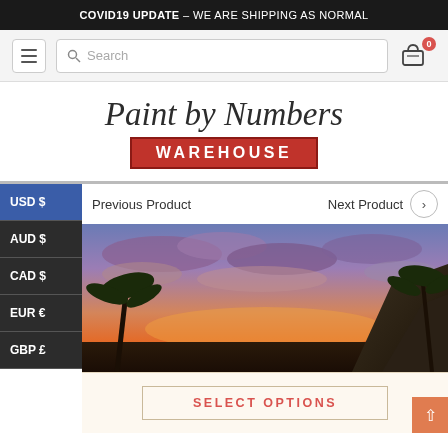COVID19 UPDATE – WE ARE SHIPPING AS NORMAL
[Figure (screenshot): Navigation bar with hamburger menu, search box, and cart icon showing 0 items]
[Figure (logo): Paint by Numbers Warehouse logo with script text and red warehouse label]
USD $
AUD $
CAD $
EUR €
GBP £
Previous Product
Next Product
[Figure (photo): Tropical sunset scene with palm trees, dramatic orange and purple sky, rocky cliffs]
SELECT OPTIONS